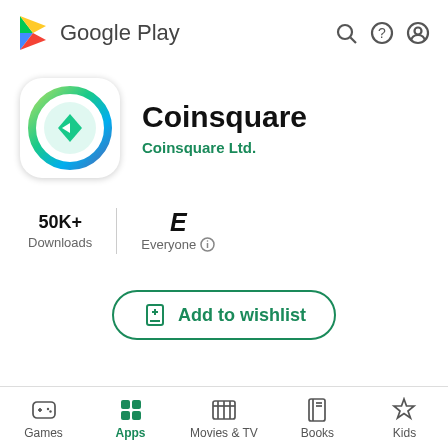[Figure (logo): Google Play header with logo, search, help, and account icons]
[Figure (logo): Coinsquare app icon: circular gradient logo with green arrow diamond in center]
Coinsquare
Coinsquare Ltd.
50K+
Downloads
E
Everyone
Add to wishlist
Games | Apps | Movies & TV | Books | Kids